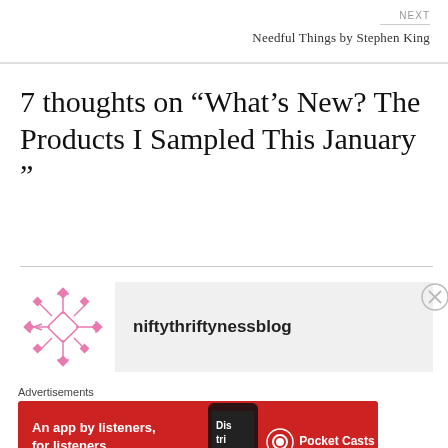NEXT
Needful Things by Stephen King
7 thoughts on “What’s New? The Products I Sampled This January ”
[Figure (logo): Pink snowflake/diamond geometric logo icon for niftythriftynessblog]
niftythriftynessblog
Advertisements
[Figure (screenshot): Red advertisement banner for Pocket Casts app: 'An app by listeners, for listeners.' with phone graphic and Pocket Casts logo]